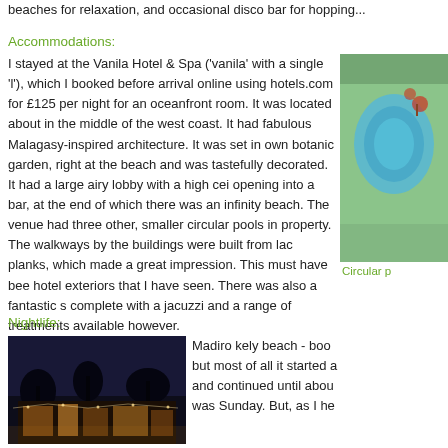beaches for relaxation, and occasional disco bar for hopping...
Accommodations:
I stayed at the Vanila Hotel & Spa ('vanila' with a single 'l'), which I booked before arrival online using hotels.com for £125 per night for an oceanfront room. It was located about in the middle of the west coast. It had fabulous Malagasy-inspired architecture. It was set in own botanic garden, right at the beach and was tastefully decorated. It had a large airy lobby with a high ceiling opening into a bar, at the end of which there was an infinity beach. The venue had three other, smaller circular pools in the property. The walkways by the buildings were built from laco planks, which made a great impression. This must have been hotel exteriors that I have seen. There was also a fantastic complete with a jacuzzi and a range of treatments available however.
[Figure (photo): Circular pool at the Vanila Hotel, aerial/overhead view showing turquoise water and surrounding tropical garden]
Circular p
Nightlife:
[Figure (photo): Night scene at Madiro kely beach showing illuminated buildings and palm trees at dusk]
Madiro kely beach - boom but most of all it started a and continued until abou was Sunday. But, as I he...